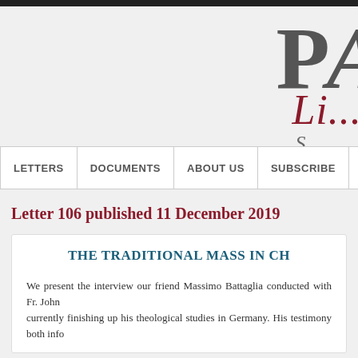PA Li...
LETTERS | DOCUMENTS | ABOUT US | SUBSCRIBE | PL WORLD
Letter 106 published 11 December 2019
THE TRADITIONAL MASS IN CH...
We present the interview our friend Massimo Battaglia conducted with Fr. John... currently finishing up his theological studies in Germany. His testimony both info...